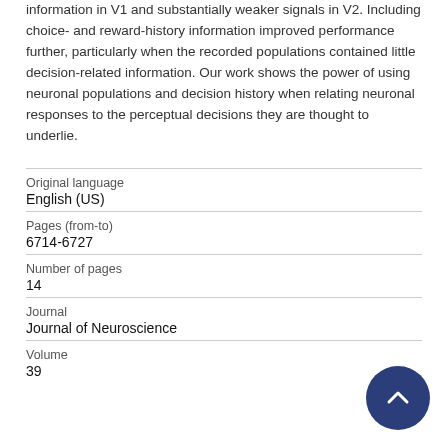information in V1 and substantially weaker signals in V2. Including choice- and reward-history information improved performance further, particularly when the recorded populations contained little decision-related information. Our work shows the power of using neuronal populations and decision history when relating neuronal responses to the perceptual decisions they are thought to underlie.
| Original language | English (US) |
| Pages (from-to) | 6714-6727 |
| Number of pages | 14 |
| Journal | Journal of Neuroscience |
| Volume | 39 |